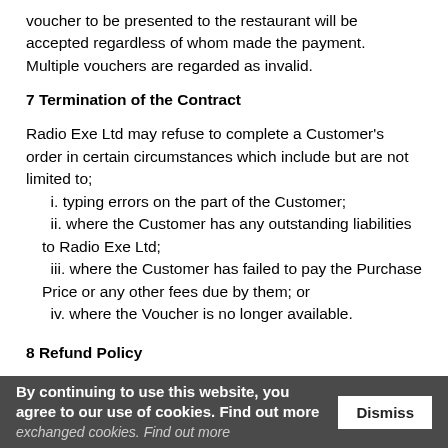voucher to be presented to the restaurant will be accepted regardless of whom made the payment. Multiple vouchers are regarded as invalid.
7 Termination of the Contract
Radio Exe Ltd may refuse to complete a Customer's order in certain circumstances which include but are not limited to;
i. typing errors on the part of the Customer;
ii. where the Customer has any outstanding liabilities to Radio Exe Ltd;
iii. where the Customer has failed to pay the Purchase Price or any other fees due by them; or
iv. where the Voucher is no longer available.
8 Refund Policy
exchanged cookies. Find out more
By continuing to use this website, you agree to our use of cookies. Find out more